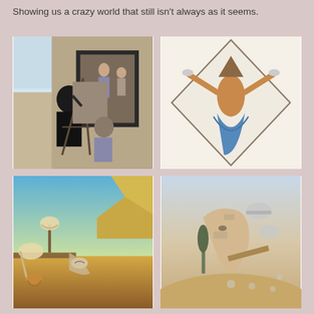Showing us a crazy world that still isn't always as it seems.
[Figure (illustration): Surrealist painting showing an artist painting in front of an easel with a framed mirror/window in the background reflecting viewers]
[Figure (illustration): Surrealist painting in diamond/rotated square format showing an abstract figure with a triangular head and blue draped lower body]
[Figure (illustration): Salvador Dali's The Persistence of Memory - melting clocks in a surreal landscape with blue sky and cliffs]
[Figure (illustration): Surrealist painting showing a disintegrated face/figure in a desert landscape with floating elements]